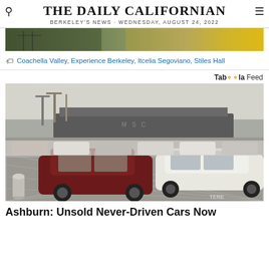THE DAILY CALIFORNIAN
BERKELEY'S NEWS · WEDNESDAY, AUGUST 24, 2022
[Figure (photo): Advertisement banner with landscape/port imagery and yellow accent]
Coachella Valley, Experience Berkeley, Itcelia Segoviano, Stiles Hall
Tab○○la Feed
[Figure (photo): Rows of unsold cars parked at a port/shipping terminal behind a chain-link fence, with a large cargo ship labeled MSC in the background]
Ashburn: Unsold Never-Driven Cars Now